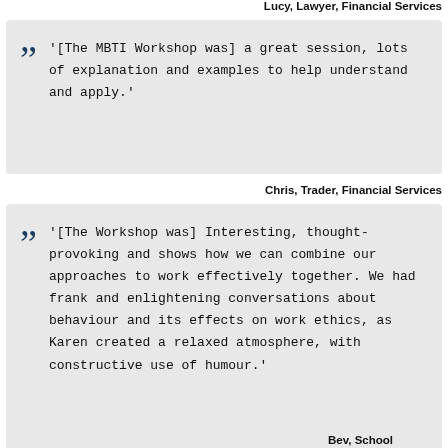Lucy, Lawyer, Financial Services
'[The MBTI Workshop was] a great session, lots of explanation and examples to help understand and apply.'
Chris, Trader, Financial Services
'[The Workshop was] Interesting, thought-provoking and shows how we can combine our approaches to work effectively together. We had frank and enlightening conversations about behaviour and its effects on work ethics, as Karen created a relaxed atmosphere, with constructive use of humour.'
Bev, School